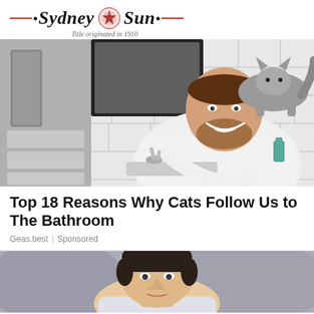Sydney Sun — Title originated in 1910
[Figure (photo): A smiling bearded man washing hands at a bathroom sink while a large fluffy cat stands on the counter above him. White subway tile walls, mirror, gray towel visible.]
Top 18 Reasons Why Cats Follow Us to The Bathroom
Geas.best | Sponsored
[Figure (photo): Partial view of a young man with dark hair, photographed from shoulders up, blurred background.]